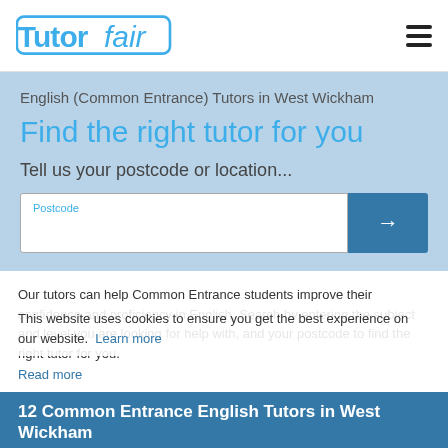TutorFair [logo] ☰
English (Common Entrance) Tutors in West Wickham
Find the right tutor for you
Tell us your postcode or location...
Postcode [input field] →
Our tutors can help Common Entrance students improve their confidence and proficiency in English. Search by entering the subject and level you are looking for help with, and your postcode to find the right tutor for you.
Read more
This website uses cookies to ensure you get the best experience on our website. Learn more
12 Common Entrance English Tutors in West Wickham